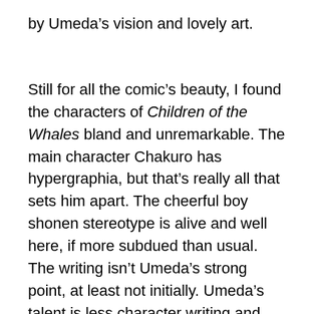by Umeda's vision and lovely art.
Still for all the comic's beauty, I found the characters of Children of the Whales bland and unremarkable. The main character Chakuro has hypergraphia, but that's really all that sets him apart. The cheerful boy shonen stereotype is alive and well here, if more subdued than usual. The writing isn't Umeda's strong point, at least not initially. Umeda's talent is less character writing and more world building, and it's clear that readers who love an expansive fantasy world will immediately burrow into this one – Children of the Whales clearly has a strong vision of itself as a